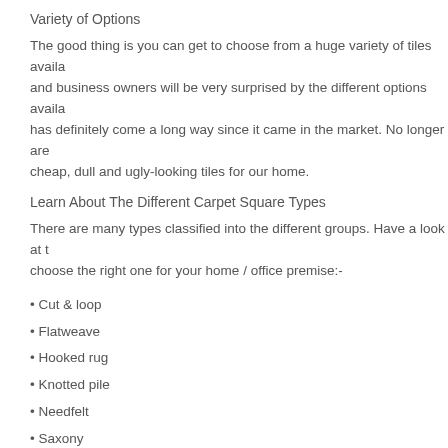Variety of Options
The good thing is you can get to choose from a huge variety of tiles availa... and business owners will be very surprised by the different options availa... has definitely come a long way since it came in the market. No longer are cheap, dull and ugly-looking tiles for our home.
Learn About The Different Carpet Square Types
There are many types classified into the different groups. Have a look at t... choose the right one for your home / office premise:-
• Cut & loop
• Flatweave
• Hooked rug
• Knotted pile
• Needfelt
• Saxony
• Textured Saxony
• Tufted
• Woven